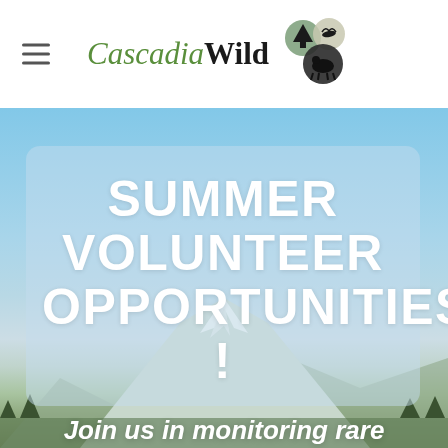[Figure (logo): CascadiaWild logo with green italic 'Cascadia' and bold black 'Wild' text, accompanied by three circular icons depicting a tree, a bird, and an animal silhouette]
[Figure (photo): Outdoor hero image of a snow-capped mountain (Mt. Hood) with blue sky background]
SUMMER VOLUNTEER OPPORTUNITIES !
Join us in monitoring rare